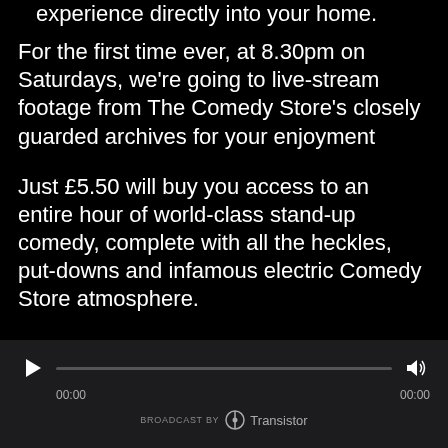experience directly into your home.
For the first time ever, at 8.30pm on Saturdays, we're going to live-stream footage from The Comedy Store's closely guarded archives for your enjoyment
Just £5.50 will buy you access to an entire hour of world-class stand-up comedy, complete with all the heckles, put-downs and infamous electric Comedy Store atmosphere.
PROFITS WILL BE SPLIT BETWEEN THE PERFORMERS AND THE UPKEEP OF OUR
[Figure (screenshot): Audio player bar with play button, progress track, volume icon, timestamps 00:00 on both sides, and 'BROADCAST BY Transistor' branding]